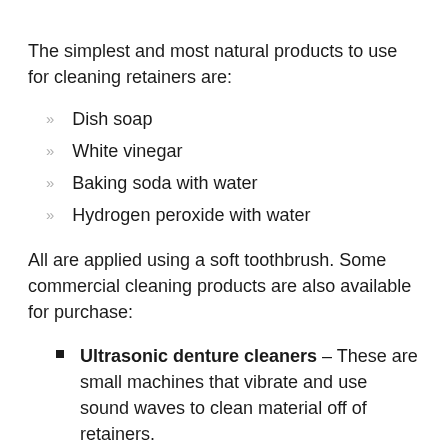The simplest and most natural products to use for cleaning retainers are:
Dish soap
White vinegar
Baking soda with water
Hydrogen peroxide with water
All are applied using a soft toothbrush. Some commercial cleaning products are also available for purchase:
Ultrasonic denture cleaners – These are small machines that vibrate and use sound waves to clean material off of retainers.